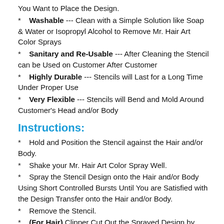You Want to Place the Design.
* Washable --- Clean with a Simple Solution like Soap & Water or Isopropyl Alcohol to Remove Mr. Hair Art Color Sprays
* Sanitary and Re-Usable --- After Cleaning the Stencil can be Used on Customer After Customer
* Highly Durable --- Stencils will Last for a Long Time Under Proper Use
* Very Flexible --- Stencils will Bend and Mold Around Customer's Head and/or Body
Instructions:
* Hold and Position the Stencil against the Hair and/or Body.
* Shake your Mr. Hair Art Color Spray Well.
* Spray the Stencil Design onto the Hair and/or Body Using Short Controlled Bursts Until You are Satisfied with the Design Transfer onto the Hair and/or Body.
* Remove the Stencil.
* (For Hair) Clipper Cut Out the Sprayed Design by Tracing the Design with Clippers (Wahl Tattoo Clipper